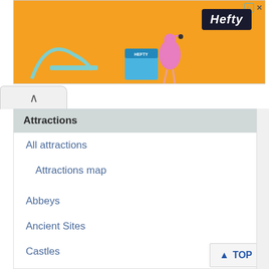[Figure (screenshot): Orange advertisement banner for Hefty brand with decorative product imagery including an arc/pool slide shape, a flamingo, and a product box. Has close/play icons in top right corner and the Hefty logo on a dark background.]
Attractions
All attractions
Attractions map
Abbeys
Ancient Sites
Castles
Countryside
Family attractions
Gardens
Historic Buildings